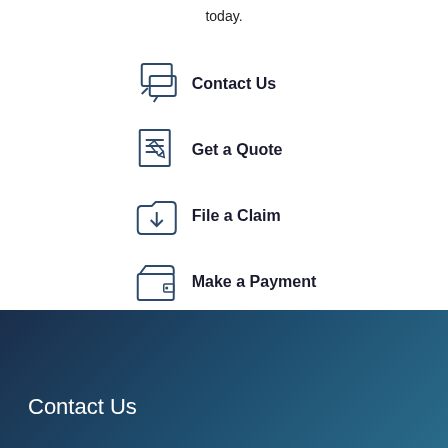today.
Contact Us
Get a Quote
File a Claim
Make a Payment
Contact Us